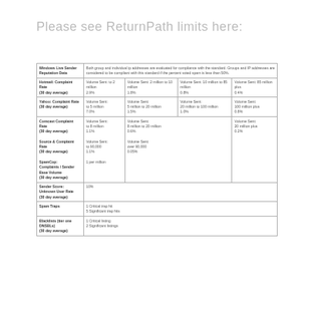Please see ReturnPath limits here:
|  |  |  |  |  |
| --- | --- | --- | --- | --- |
| Windows Live Sender Reputation Data | Both group and individual ip addresses are evaluated for compliance with the standard. Groups and IP addresses are considered to be compliant with this standard if the percent voted spam is less than 50%. |  |  |  |
| Hotmail: Complaint Rate
(30 day average) | Volume Sent: to 2 million
2.9% | Volume Sent: 2 million to 10 million
1.8% | Volume Sent: 10 million to 85 million
0.8% | Volume Sent: 85 million plus
0.4% |
| Yahoo: Complaint Rate
(30 day average) | Volume Sent:
to 5 million
7.0% | Volume Sent:
5 million to 20 million
1.5% | Volume Sent:
20 million to 100 million
1.0% | Volume Sent:
100 million plus
0.8% |
| Comcast Complaint Rate
(30 day average)
Source & Complaint Rate
(30 day average)
SpamCop: Complaints / Sender Base Volume
(30 day average) | Volume Sent:
to 8 million
1.1%
Volume Sent:
to 90,000
1.1%
1 per million | Volume Sent:
8 million to 20 million
0.6%
Volume Sent:
over 90,000
0.05% |  | Volume Sent:
20 million plus
0.2% |
| Sender Score: Unknown User Rate
(30 day average) | 10% |  |  |  |
| Spam Traps | 1 Critical trap hit
5 Significant trap hits |  |  |  |
| Blacklists (tier one DNSBLs)
(30 day average) | 1 Critical listing
2 Significant listings |  |  |  |